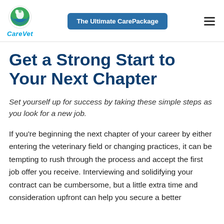The Ultimate CarePackage
Get a Strong Start to Your Next Chapter
Set yourself up for success by taking these simple steps as you look for a new job.
If you’re beginning the next chapter of your career by either entering the veterinary field or changing practices, it can be tempting to rush through the process and accept the first job offer you receive. Interviewing and solidifying your contract can be cumbersome, but a little extra time and consideration upfront can help you secure a better position...